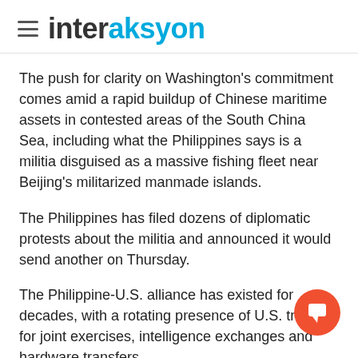interaksyon
The push for clarity on Washington's commitment comes amid a rapid buildup of Chinese maritime assets in contested areas of the South China Sea, including what the Philippines says is a militia disguised as a massive fishing fleet near Beijing's militarized manmade islands.
The Philippines has filed dozens of diplomatic protests about the militia and announced it would send another on Thursday.
The Philippine-U.S. alliance has existed for decades, with a rotating presence of U.S. troops for joint exercises, intelligence exchanges and hardware transfers.